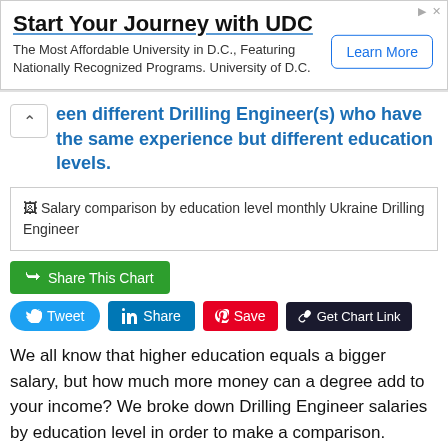[Figure (other): Advertisement banner: Start Your Journey with UDC. The Most Affordable University in D.C., Featuring Nationally Recognized Programs. University of D.C. Learn More button.]
een different Drilling Engineer(s) who have the same experience but different education levels.
[Figure (other): Salary comparison by education level monthly Ukraine Drilling Engineer chart placeholder image]
Share This Chart
Tweet  Share  Save  Get Chart Link
We all know that higher education equals a bigger salary, but how much more money can a degree add to your income? We broke down Drilling Engineer salaries by education level in order to make a comparison.
When the education level is Certificate or Diploma, the